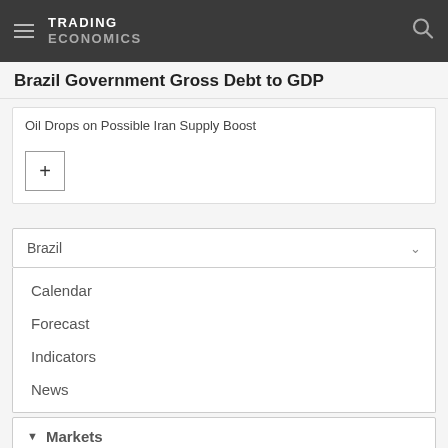TRADING ECONOMICS
Brazil Government Gross Debt to GDP
Oil Drops on Possible Iran Supply Boost
+
Brazil
Calendar
Forecast
Indicators
News
Markets